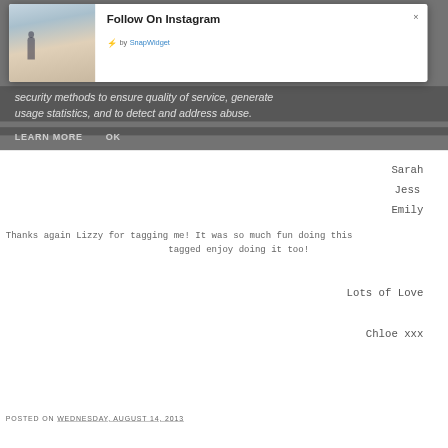[Figure (screenshot): Follow On Instagram modal popup with SnapWidget branding and a beach photo thumbnail. Modal has a close button (×) in top right corner.]
security methods to ensure quality of service, generate usage statistics, and to detect and address abuse.
LEARN MORE    OK
Sarah
Jess
Emily
Thanks again Lizzy for tagging me! It was so much fun doing this tagged enjoy doing it too!
Lots of Love
Chloe xxx
POSTED ON WEDNESDAY, AUGUST 14, 2013